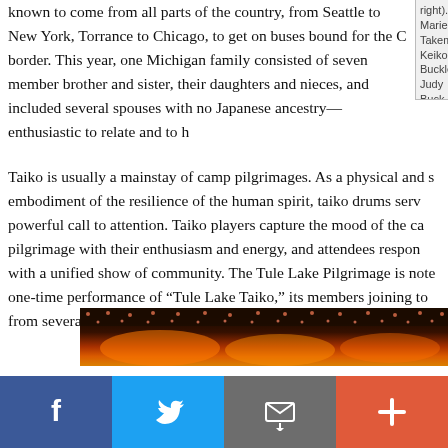known to come from all parts of the country, from Seattle to New York, Torrance to Chicago, to get on buses bound for the C border. This year, one Michigan family consisted of seven member brother and sister, their daughters and nieces, and included several spouses with no Japanese ancestry—enthusiastic to relate and to h
right). Marie Takemoto, Keiko Buckles, Judy Buck Jeanne Fujioka, and Tamiko Rehagen. Other fami members attending were John Takemoto and Gi
Taiko is usually a mainstay of camp pilgrimages. As a physical and s embodiment of the resilience of the human spirit, taiko drums serv powerful call to attention. Taiko players capture the mood of the ca pilgrimage with their enthusiasm and energy, and attendees respon with a unified show of community. The Tule Lake Pilgrimage is note one-time performance of "Tule Lake Taiko," its members joining to from several taiko groups to play together for a single rip-roaring c
[Figure (photo): Close-up photograph of illuminated taiko drums on a dark stage, showing glowing red/orange light on drum surfaces with rows of metallic bolts visible along the top edge.]